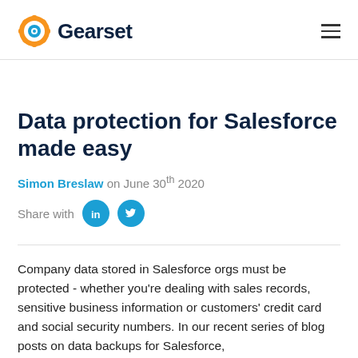Gearset
Data protection for Salesforce made easy
Simon Breslaw on June 30th 2020
Share with [LinkedIn] [Twitter]
Company data stored in Salesforce orgs must be protected - whether you're dealing with sales records, sensitive business information or customers' credit card and social security numbers. In our recent series of blog posts on data backups for Salesforce,